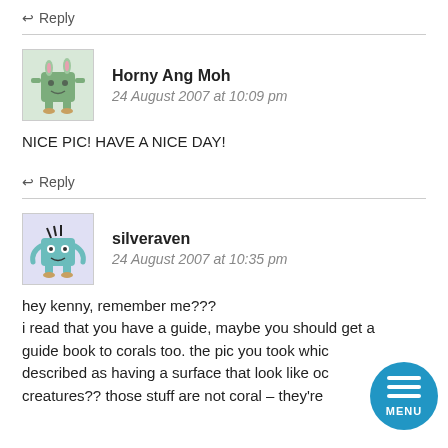↩ Reply
Horny Ang Moh
24 August 2007 at 10:09 pm
NICE PIC! HAVE A NICE DAY!
↩ Reply
silveraven
24 August 2007 at 10:35 pm
hey kenny, remember me???
i read that you have a guide, maybe you should get a guide book to corals too. the pic you took whic described as having a surface that look like oc creatures?? those stuff are not coral – they're